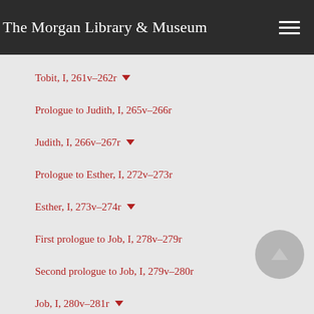The Morgan Library & Museum
Tobit, I, 261v–262r
Prologue to Judith, I, 265v–266r
Judith, I, 266v–267r
Prologue to Esther, I, 272v–273r
Esther, I, 273v–274r
First prologue to Job, I, 278v–279r
Second prologue to Job, I, 279v–280r
Job, I, 280v–281r
Prologue to Psalms, I, 292v–293r
Psalms, I, 293v–294r